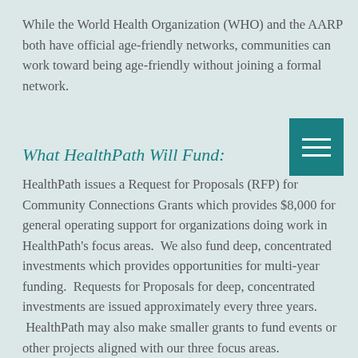While the World Health Organization (WHO) and the AARP both have official age-friendly networks, communities can work toward being age-friendly without joining a formal network.
What HealthPath Will Fund:
HealthPath issues a Request for Proposals (RFP) for Community Connections Grants which provides $8,000 for general operating support for organizations doing work in HealthPath's focus areas.  We also fund deep, concentrated investments which provides opportunities for multi-year funding.  Requests for Proposals for deep, concentrated investments are issued approximately every three years.  HealthPath may also make smaller grants to fund events or other projects aligned with our three focus areas.